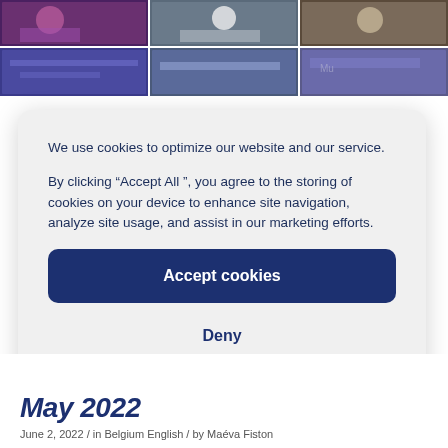[Figure (photo): Grid of event/party photos in two rows of three, showing people at a social gathering with colorful lighting]
We use cookies to optimize our website and our service.

By clicking “Accept All ”, you agree to the storing of cookies on your device to enhance site navigation, analyze site usage, and assist in our marketing efforts.
Accept cookies
Deny
View preferences
Cookie Policy   PRIVACY POLICY
May 2022
June 2, 2022 / in Belgium English / by Maéva Fiston